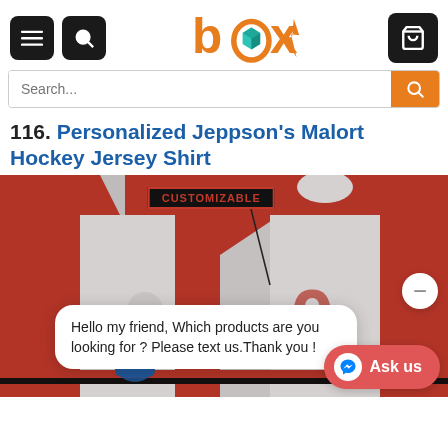box — navigation header with menu, search, and cart icons
Search...
116. Personalized Jeppson's Malort Hockey Jersey Shirt
[Figure (photo): Personalized Jeppson's Malort Hockey Jersey Shirt product image showing front and back of a red and white hockey jersey. A 'CUSTOMIZABLE' badge label points to the jersey. A chat bubble reads: Hello my friend, Which products are you looking for ? Please text us.Thank you ! An 'Ask us' button is visible at the bottom right.]